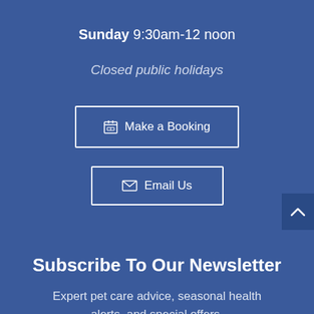Sunday 9:30am-12 noon
Closed public holidays
Make a Booking
Email Us
Subscribe To Our Newsletter
Expert pet care advice, seasonal health alerts, and special offers.